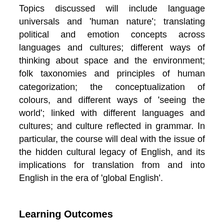Topics discussed will include language universals and 'human nature'; translating political and emotion concepts across languages and cultures; different ways of thinking about space and the environment; folk taxonomies and principles of human categorization; the conceptualization of colours, and different ways of 'seeing the world'; linked with different languages and cultures; and culture reflected in grammar. In particular, the course will deal with the issue of the hidden cultural legacy of English, and its implications for translation from and into English in the era of 'global English'.
Learning Outcomes
Upon successful completion, students will have the knowledge and skills to:
On satisfying the requirements of the course, the students will be able to: